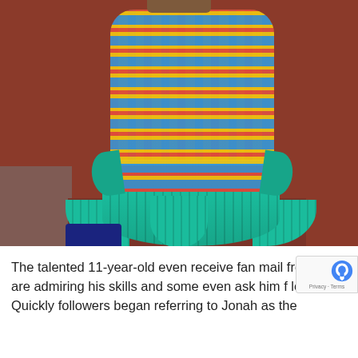[Figure (photo): A crocheted mermaid tail blanket hanging on a couch. The body of the blanket is multicolored crochet (blue, yellow, red) and the tail fins are teal/turquoise knit. A person's legs in dark blue pants are visible at the bottom left.]
The talented 11-year-old even receive fan mail from who are admiring his skills and some even ask him f lessons. Quickly followers began referring to Jonah as the